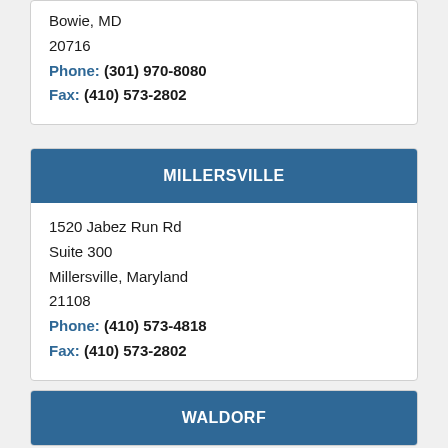Bowie, MD
20716
Phone: (301) 970-8080
Fax: (410) 573-2802
MILLERSVILLE
1520 Jabez Run Rd
Suite 300
Millersville, Maryland
21108
Phone: (410) 573-4818
Fax: (410) 573-2802
WALDORF